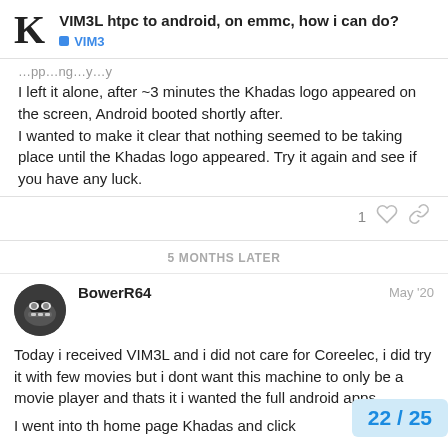VIM3L htpc to android, on emmc, how i can do? VIM3
I left it alone, after ~3 minutes the Khadas logo appeared on the screen, Android booted shortly after.
I wanted to make it clear that nothing seemed to be taking place until the Khadas logo appeared. Try it again and see if you have any luck.
5 MONTHS LATER
BowerR64  May '20
Today i received VIM3L and i did not care for Coreelec, i did try it with few movies but i dont want this machine to only be a movie player and thats it i wanted the full android apps

I went into th home page Khadas and click...
22 / 25